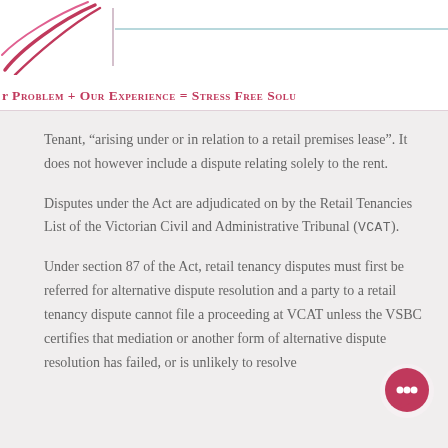r Problem + Our Experience = Stress Free Solu
Tenant, “arising under or in relation to a retail premises lease”. It does not however include a dispute relating solely to the rent.
Disputes under the Act are adjudicated on by the Retail Tenancies List of the Victorian Civil and Administrative Tribunal (VCAT).
Under section 87 of the Act, retail tenancy disputes must first be referred for alternative dispute resolution and a party to a retail tenancy dispute cannot file a proceeding at VCAT unless the VSBC certifies that mediation or another form of alternative dispute resolution has failed, or is unlikely to resolve